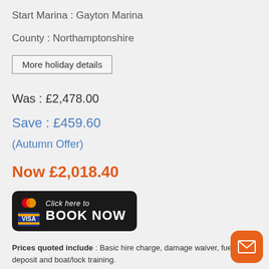Start Marina : Gayton Marina
County : Northamptonshire
More holiday details
Was : £2,478.00
Save : £459.60
(Autumn Offer)
Now £2,018.40
[Figure (other): Black rounded button with credit card icons (Mastercard, Visa) and text 'Click here to BOOK NOW']
Prices quoted include : Basic hire charge, damage waiver, fuel deposit and boat/lock training.
Optional extras may apply. Please see the booking form for more information.